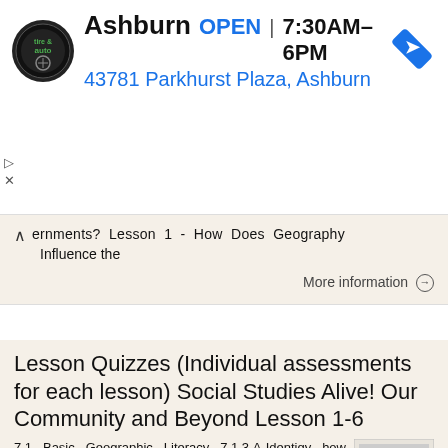[Figure (logo): Virginia Tire & Auto logo circle with circular badge]
Ashburn  OPEN  7:30AM–6PM  43781 Parkhurst Plaza, Ashburn
[Figure (illustration): Blue diamond navigation/directions icon]
▷
×
ernments? Lesson 1 - How Does Geography Influence the
More information →
Lesson Quizzes (Individual assessments for each lesson) Social Studies Alive! Our Community and Beyond Lesson 1-6
7.1 Basic Geographic Literacy 7.1.3.A-Identigy how basic geographic tools are used to organize and interpret information about people, places and environment. 7.3 Human Characteristics of Places and Regions
[Figure (screenshot): Thumbnail image of a document/quiz page]
More information →